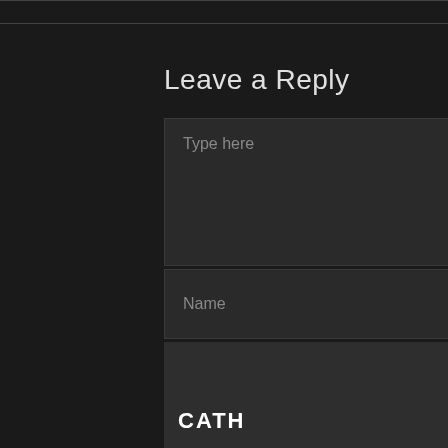[Figure (screenshot): Top partial UI element — dark bordered box at top of page]
Leave a Reply
[Figure (screenshot): Comment form with textarea placeholder 'Type here', Name and Email input fields, and an orange POST COMMENT button]
[Figure (screenshot): Bottom card section with text 'CATH' and a partial circular avatar photo]